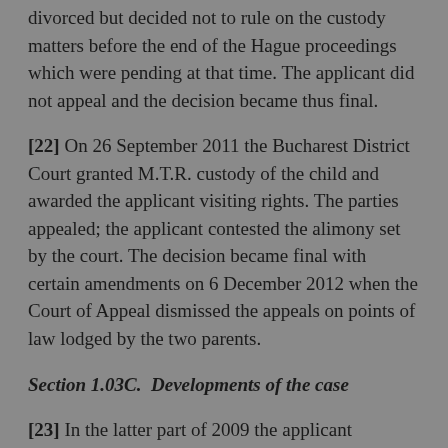divorced but decided not to rule on the custody matters before the end of the Hague proceedings which were pending at that time. The applicant did not appeal and the decision became thus final.
[22] On 26 September 2011 the Bucharest District Court granted M.T.R. custody of the child and awarded the applicant visiting rights. The parties appealed; the applicant contested the alimony set by the court. The decision became final with certain amendments on 6 December 2012 when the Court of Appeal dismissed the appeals on points of law lodged by the two parents.
Section 1.03C.  Developments of the case
[23] In the latter part of 2009 the applicant travelled for the first time to Romania since the beginning of the conflictual situation. He stayed with M.T.R. and his child in M.T.R.'s apartment in Husi for a month.